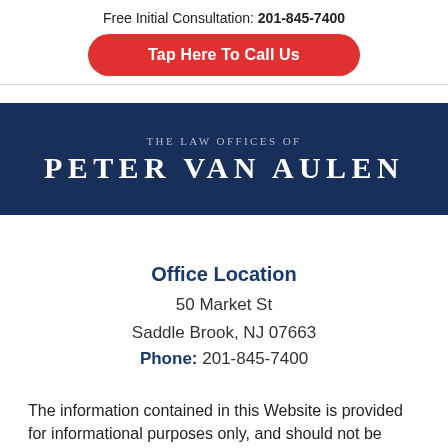Free Initial Consultation: 201-845-7400
Tap Here To Call Us
[Figure (logo): The Law Offices of Peter Van Aulen logo on dark navy background]
Office Location
50 Market St
Saddle Brook, NJ 07663
Phone: 201-845-7400
The information contained in this Website is provided for informational purposes only, and should not be construed as legal advice on...